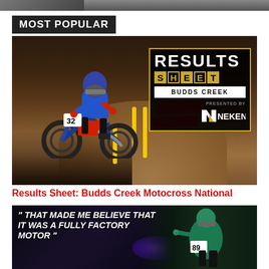[Figure (photo): Partial top edge of a photo, cropped at top of page]
MOST POPULAR
[Figure (photo): Motocross rider #32 on a blue dirt bike navigating a dirt track corner, with Results Sheet: Budds Creek overlay graphic featuring Neken sponsorship logo in upper right]
Results Sheet: Budds Creek Motocross National
[Figure (photo): Motocross image with bold italic white text overlay reading: "THAT MADE ME BELIEVE THAT IT WAS A FULLY FACTORY MOTOR" with a rider visible on the right side]